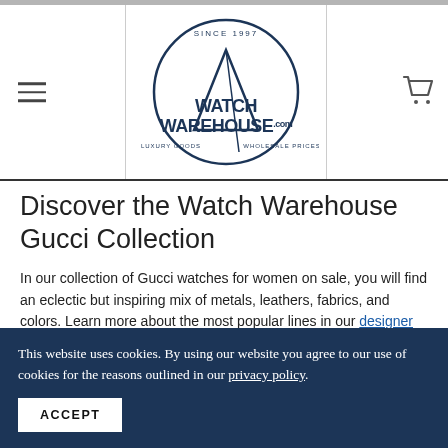Watch Warehouse — LUXURY GOODS · WHOLESALE PRICES · SINCE 1997
Discover the Watch Warehouse Gucci Collection
In our collection of Gucci watches for women on sale, you will find an eclectic but inspiring mix of metals, leathers, fabrics, and colors. Learn more about the most popular lines in our designer watch collection of Gucci watches for women.
G-Frame
This website uses cookies. By using our website you agree to our use of cookies for the reasons outlined in our privacy policy.